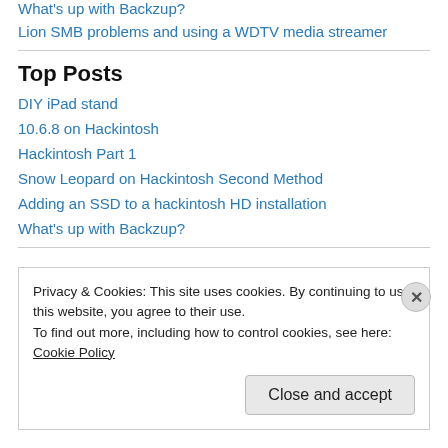What's up with Backzup?
Lion SMB problems and using a WDTV media streamer
Top Posts
DIY iPad stand
10.6.8 on Hackintosh
Hackintosh Part 1
Snow Leopard on Hackintosh Second Method
Adding an SSD to a hackintosh HD installation
What's up with Backzup?
Privacy & Cookies: This site uses cookies. By continuing to use this website, you agree to their use. To find out more, including how to control cookies, see here: Cookie Policy
Close and accept